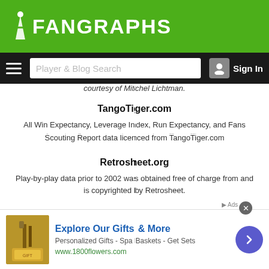FanGraphs
courtesy of Mitchel Lichtman.
TangoTiger.com
All Win Expectancy, Leverage Index, Run Expectancy, and Fans Scouting Report data licenced from TangoTiger.com
Retrosheet.org
Play-by-play data prior to 2002 was obtained free of charge from and is copyrighted by Retrosheet.
[Figure (infographic): Advertisement banner: Explore Our Gifts & More - 1800flowers.com]
Explore Our Gifts & More
Personalized Gifts - Spa Baskets - Get Sets
www.1800flowers.com